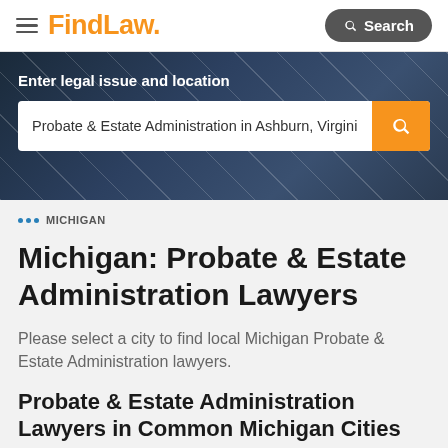FindLaw — Search
[Figure (screenshot): Hero banner with dark blue background and search bar reading 'Probate & Estate Administration in Ashburn, Virgini']
Enter legal issue and location
Probate & Estate Administration in Ashburn, Virgini
... MICHIGAN
Michigan: Probate & Estate Administration Lawyers
Please select a city to find local Michigan Probate & Estate Administration lawyers.
Probate & Estate Administration Lawyers in Common Michigan Cities